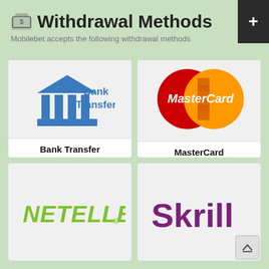Withdrawal Methods
Mobilebet accepts the following withdrawal methods
[Figure (logo): Bank Transfer logo with blue bank/column icon and blue text 'Bank Transfer']
Bank Transfer
[Figure (logo): MasterCard logo with overlapping red and orange circles and white 'MasterCard.' text]
MasterCard
[Figure (logo): NETELLER logo in bold green italic text with registered trademark symbol]
[Figure (logo): Skrill logo in purple bold text]